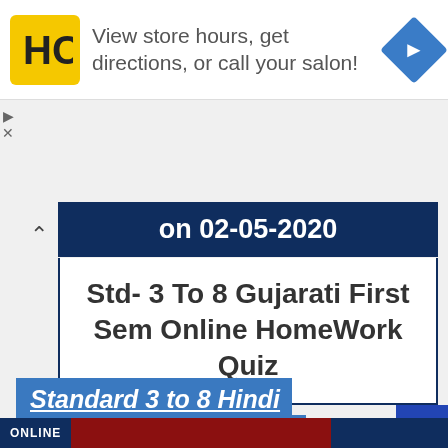[Figure (logo): HC salon logo on yellow background with navigation arrow icon advertisement]
View store hours, get directions, or call your salon!
on 02-05-2020
Std- 3 To 8 Gujarati First Sem Online HomeWork Quiz
Standard 3 to 8 Hindi Sem 1 Subject